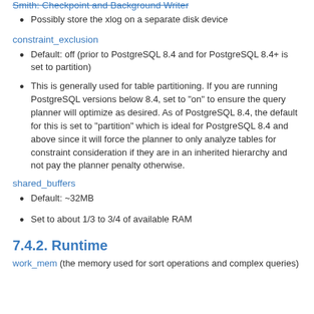Smith: Checkpoint and Background Writer
Possibly store the xlog on a separate disk device
constraint_exclusion
Default: off (prior to PostgreSQL 8.4 and for PostgreSQL 8.4+ is set to partition)
This is generally used for table partitioning. If you are running PostgreSQL versions below 8.4, set to "on" to ensure the query planner will optimize as desired. As of PostgreSQL 8.4, the default for this is set to "partition" which is ideal for PostgreSQL 8.4 and above since it will force the planner to only analyze tables for constraint consideration if they are in an inherited hierarchy and not pay the planner penalty otherwise.
shared_buffers
Default: ~32MB
Set to about 1/3 to 3/4 of available RAM
7.4.2. Runtime
work_mem (the memory used for sort operations and complex queries)